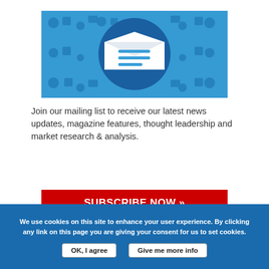[Figure (illustration): Email/newsletter subscription illustration: a blue circular icon with an open envelope showing a document, set against a blue background tile-pattern with various finance and business icons]
Join our mailing list to receive our latest news updates, magazine features, thought leadership and market research & analysis.
SUBSCRIBE NOW »
We use cookies on this site to enhance your user experience. By clicking any link on this page you are giving your consent for us to set cookies.
OK, I agree
Give me more info